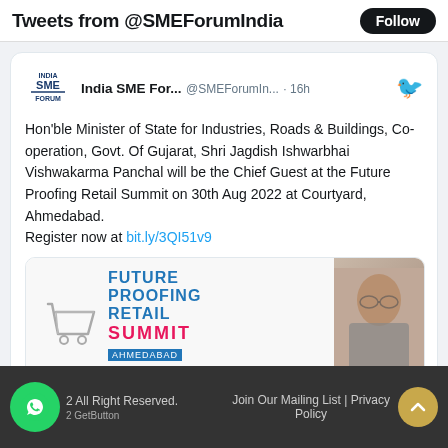Tweets from @SMEForumIndia  Follow
India SME For...  @SMEForumIn...  · 16h
Hon'ble Minister of State for Industries, Roads & Buildings, Co-operation, Govt. Of Gujarat, Shri Jagdish Ishwarbhai Vishwakarma Panchal will be the Chief Guest at the Future Proofing Retail Summit on 30th Aug 2022 at Courtyard, Ahmedabad.
Register now at bit.ly/3QI51v9
[Figure (infographic): Future Proofing Retail Summit event banner with shopping cart icon, event title, sponsor logos, a photo of Shri Jagdish Ishwarbhai Vishwakarma Panchal, and 'INAUGURATION BY' text on blue background.]
All Right Reserved.   Join Our Mailing List | Privacy Policy